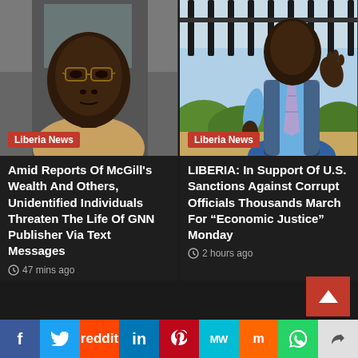[Figure (photo): Close-up photo of a dark-skinned man with glasses, indoor background, labeled Liberia News]
[Figure (photo): Photo of a man in a light blue shirt and tie outdoors near a fence and bushes, labeled Liberia News]
Amid Reports Of McGill's Wealth And Others, Unidentified Individuals Threaten The Life Of GNN Publisher Via Text Messages
47 mins ago
LIBERIA: In Support Of U.S. Sanctions Against Corrupt Officials Thousands March For “Economic Justice” Monday
2 hours ago